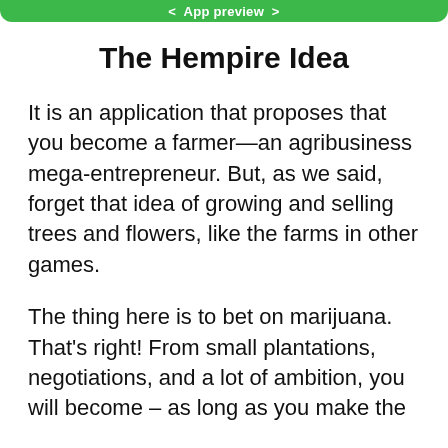< App preview >
The Hempire Idea
It is an application that proposes that you become a farmer—an agribusiness mega-entrepreneur. But, as we said, forget that idea of growing and selling trees and flowers, like the farms in other games.
The thing here is to bet on marijuana. That's right! From small plantations, negotiations, and a lot of ambition, you will become – as long as you make the